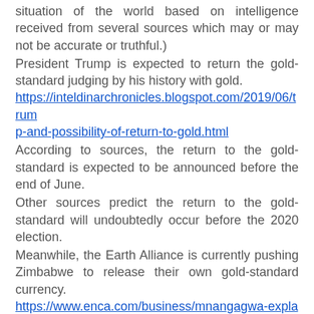situation of the world based on intelligence received from several sources which may or may not be accurate or truthful.)
President Trump is expected to return the gold-standard judging by his history with gold. https://inteldinarchronicles.blogspot.com/2019/06/trump-and-possibility-of-return-to-gold.html
According to sources, the return to the gold-standard is expected to be announced before the end of June.
Other sources predict the return to the gold-standard will undoubtedly occur before the 2020 election.
Meanwhile, the Earth Alliance is currently pushing Zimbabwe to release their own gold-standard currency. https://www.enca.com/business/mnangagwa-explains-why-zimbabwe-did-not-adopt-rand
All Zimbabwe (Trillion Series) Bond Notes are linked to Zimbabwe's natural resources and therefore must be redeemed and destroyed once their new currency is released.
All upcoming gold-standard currencies are linked to the